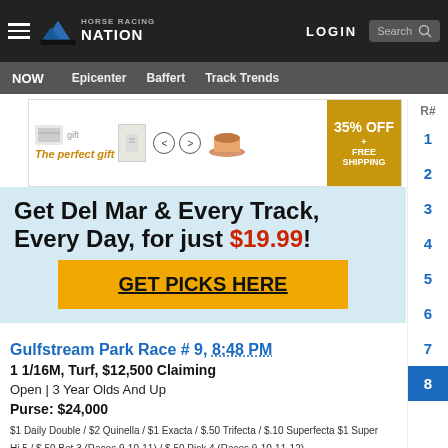Horse Racing Nation | LOGIN | Search
NOW | Epicenter | Baffert | Track Trends
[Figure (infographic): Advertisement banner: 'The perfect gift' with product images and arrows, 35% OFF + FREE SHIPPING promo box]
Get Del Mar & Every Track, Every Day, for just $19.99!
GET PICKS HERE
Gulfstream Park Race # 9, 8:48 PM
1 1/16M, Turf, $12,500 Claiming
Open | 3 Year Olds And Up
Purse: $24,000
$1 Daily Double / $2 Quinella / $1 Exacta / $.50 Trifecta / $.10 Superfecta $1 Super Hi 5 / $.50 Bet 3 (Races 9-10-11) / $.50 Pick 4 (Races 9-10-11-12)
R# 1 2 3 4 5 6 7 8